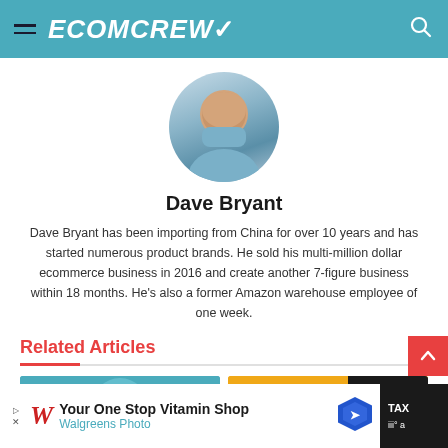ECOMCREW
[Figure (photo): Circular profile photo of Dave Bryant, a man in a blue shirt, smiling]
Dave Bryant
Dave Bryant has been importing from China for over 10 years and has started numerous product brands. He sold his multi-million dollar ecommerce business in 2016 and create another 7-figure business within 18 months. He's also a former Amazon warehouse employee of one week.
Related Articles
[Figure (photo): Thumbnail image with teal/blue background, partial circular image visible]
[Figure (photo): Thumbnail image with orange/yellow background, partial image with TAX and Amazon logos visible]
[Figure (photo): Advertisement banner: Walgreens Photo - Your One Stop Vitamin Shop]